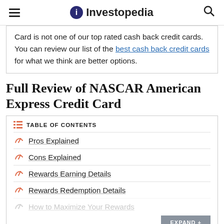Investopedia
Card is not one of our top rated cash back credit cards. You can review our list of the best cash back credit cards for what we think are better options.
Full Review of NASCAR American Express Credit Card
TABLE OF CONTENTS
Pros Explained
Cons Explained
Rewards Earning Details
Rewards Redemption Details
How to Maximize Your Rewards